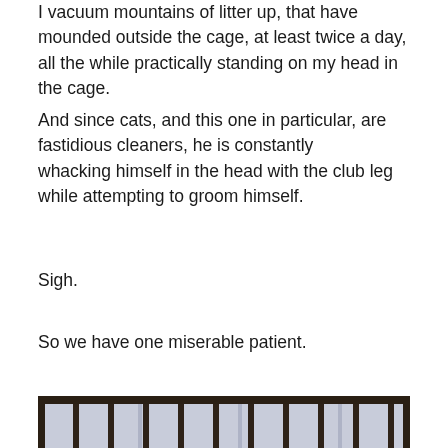I vacuum mountains of litter up, that have mounded outside the cage, at least twice a day, all the while practically standing on my head in the cage.
And since cats, and this one in particular, are fastidious cleaners, he is constantly whacking himself in the head with the club leg while attempting to groom himself.
Sigh.
So we have one miserable patient.
[Figure (photo): A metal barred cage with white fabric/cloth lining the interior, viewed from the front. The cage has vertical and horizontal metal bars, and white material draped inside.]